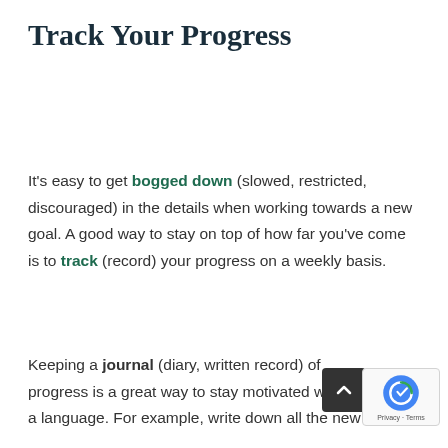Track Your Progress
It's easy to get bogged down (slowed, restricted, discouraged) in the details when working towards a new goal. A good way to stay on top of how far you've come is to track (record) your progress on a weekly basis.
Keeping a journal (diary, written record) of progress is a great way to stay motivated when learning a language. For example, write down all the new